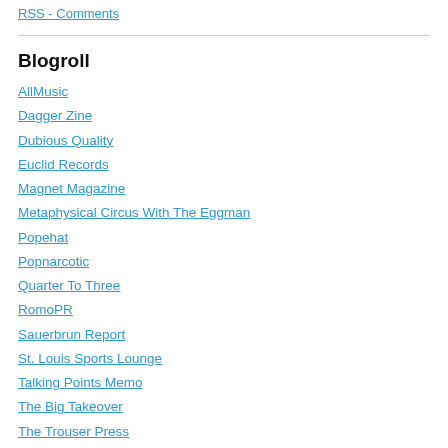RSS - Comments
Blogroll
AllMusic
Dagger Zine
Dubious Quality
Euclid Records
Magnet Magazine
Metaphysical Circus With The Eggman
Popehat
Popnarcotic
Quarter To Three
RomoPR
Sauerbrun Report
St. Louis Sports Lounge
Talking Points Memo
The Big Takeover
The Trouser Press